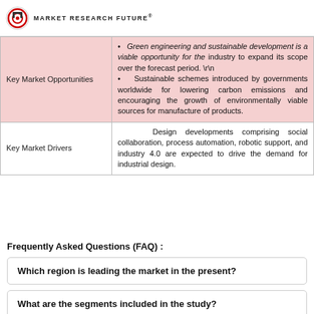MARKET RESEARCH FUTURE
|  |  |
| --- | --- |
| Key Market Opportunities | • Green engineering and sustainable development is a viable opportunity for the industry to expand its scope over the forecast period. \r\n • Sustainable schemes introduced by governments worldwide for lowering carbon emissions and encouraging the growth of environmentally viable sources for manufacture of products. |
| Key Market Drivers | Design developments comprising social collaboration, process automation, robotic support, and industry 4.0 are expected to drive the demand for industrial design. |
Frequently Asked Questions (FAQ) :
Which region is leading the market in the present?
What are the segments included in the study?